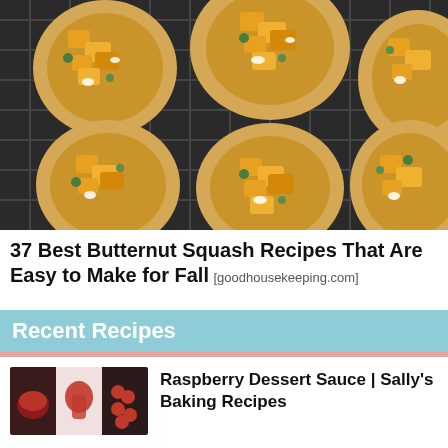[Figure (photo): Overhead photo of butternut squash tarts on a dark wire rack, filled with roasted orange squash cubes, goat cheese crumbles, and fresh herbs.]
37 Best Butternut Squash Recipes That Are Easy to Make for Fall [goodhousekeeping.com]
Recent Recipes
[Figure (photo): Thumbnail collage of raspberry dessert sauce images showing red sauce and fresh raspberries.]
Raspberry Dessert Sauce | Sally's Baking Recipes